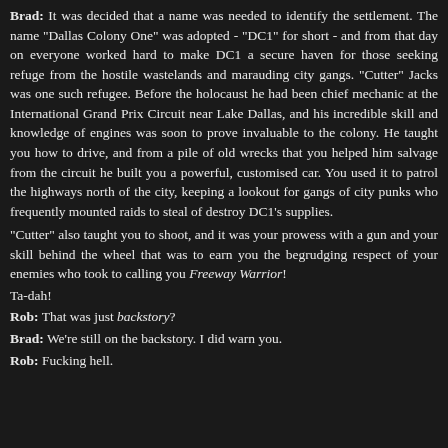Brad: It was decided that a name was needed to identify the settlement. The name "Dallas Colony One" was adopted - "DC1" for short - and from that day on everyone worked hard to make DC1 a secure haven for those seeking refuge from the hostile wastelands and marauding city gangs. "Cutter" Jacks was one such refugee. Before the holocaust he had been chief mechanic at the International Grand Prix Circuit near Lake Dallas, and his incredible skill and knowledge of engines was soon to prove invaluable to the colony. He taught you how to drive, and from a pile of old wrecks that you helped him salvage from the circuit he built you a powerful, customised car. You used it to patrol the highways north of the city, keeping a lookout for gangs of city punks who frequently mounted raids to steal of destroy DC1's supplies.
"Cutter" also taught you to shoot, and it was your prowess with a gun and your skill behind the wheel that was to earn you the begrudging respect of your enemies who took to calling you Freeway Warrior!
Ta-dah!
Rob: That was just backstory?
Brad: We're still on the backstory. I did warn you.
Rob: Fucking hell.